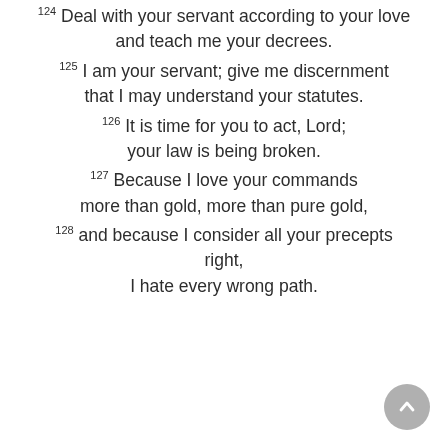124 Deal with your servant according to your love and teach me your decrees. 125 I am your servant; give me discernment that I may understand your statutes. 126 It is time for you to act, Lord; your law is being broken. 127 Because I love your commands more than gold, more than pure gold, 128 and because I consider all your precepts right, I hate every wrong path.